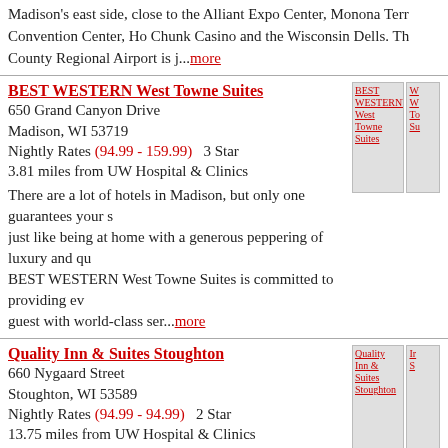Madison's east side, close to the Alliant Expo Center, Monona Terrace Convention Center, Ho Chunk Casino and the Wisconsin Dells. The County Regional Airport is j...more
BEST WESTERN West Towne Suites
650 Grand Canyon Drive
Madison, WI 53719
Nightly Rates (94.99 - 159.99)  3 Star
3.81 miles from UW Hospital & Clinics
There are a lot of hotels in Madison, but only one guarantees your s just like being at home with a generous peppering of luxury and qu BEST WESTERN West Towne Suites is committed to providing ev guest with world-class ser...more
Quality Inn & Suites Stoughton
660 Nygaard Street
Stoughton, WI 53589
Nightly Rates (94.99 - 94.99)  2 Star
13.75 miles from UW Hospital & Clinics
Free hot breakfast, Indoor Pool and Whirlpool, In-Room whirlpool Free Local telophone call. ESPN, HBO, CNN, In room coffee, Adjo rooms, Guest Laundry, Comfortable Posturepedic Beds, Computer/ ports in every room, Execu...more
La Quinta Inn & Suites Madison American Center
5217 East Terrace Dr.